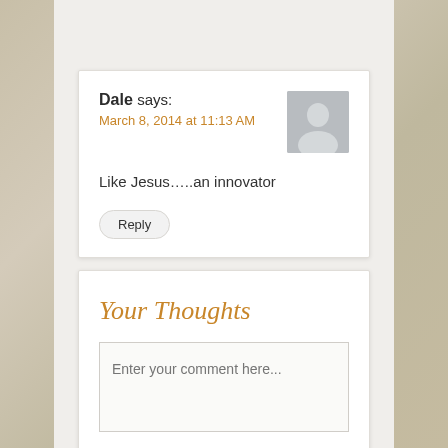Dale says: March 8, 2014 at 11:13 AM
Like Jesus…..an innovator
Reply
Your Thoughts
Enter your comment here...